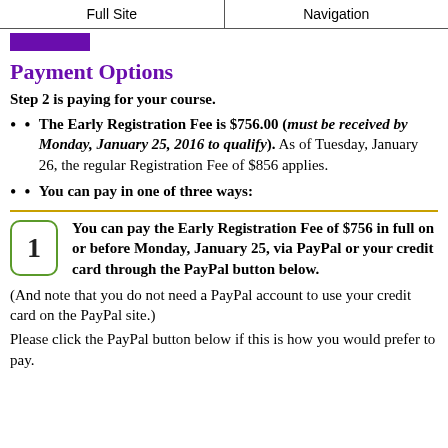Full Site | Navigation
Payment Options
Step 2 is paying for your course.
The Early Registration Fee is $756.00 (must be received by Monday, January 25, 2016 to qualify). As of Tuesday, January 26, the regular Registration Fee of $856 applies.
You can pay in one of three ways:
1 You can pay the Early Registration Fee of $756 in full on or before Monday, January 25, via PayPal or your credit card through the PayPal button below.
(And note that you do not need a PayPal account to use your credit card on the PayPal site.)
Please click the PayPal button below if this is how you would prefer to pay.